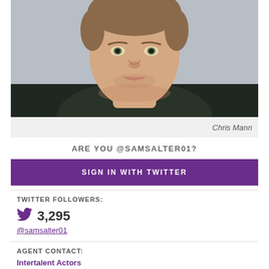[Figure (photo): Headshot of a young man with short brown hair, green eyes, wearing a dark green/black crew neck top, against a grey background. Professional actor headshot.]
Chris Mann
ARE YOU @SAMSALTER01?
SIGN IN WITH TWITTER
TWITTER FOLLOWERS:
3,295
@samsalter01
AGENT CONTACT:
Intertalent Actors